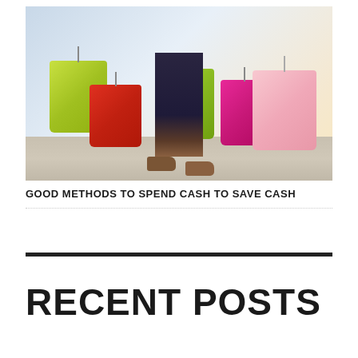[Figure (photo): A person carrying multiple colorful shopping bags (yellow-green, red, green, hot pink, and light pink) while walking, shown from waist down with dark jeans and brown shoes on a light pavement background.]
GOOD METHODS TO SPEND CASH TO SAVE CASH
RECENT POSTS